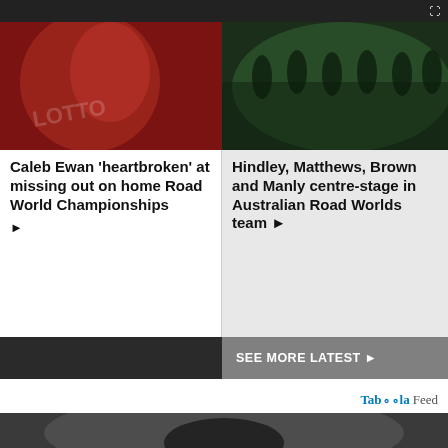[Figure (photo): Top navigation bar with collapse icon]
[Figure (photo): Caleb Ewan cyclist photo in red jersey]
Caleb Ewan 'heartbroken' at missing out on home Road World Championships ▶
[Figure (photo): Australian cycling team photo in dark green jerseys]
Hindley, Matthews, Brown and Manly centre-stage in Australian Road Worlds team ▶
SEE MORE LATEST ▶
Taboola Feed
[Figure (photo): Cyclist in dark helmet with snow]
In-Stock Solid Wood Cabinets-12 Styles!
visit cliftondesignstudio.com/ to learn more
www.cliftondesignstudio.com